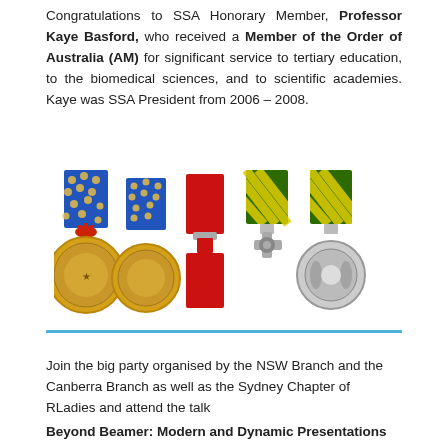Congratulations to SSA Honorary Member, Professor Kaye Basford, who received a Member of the Order of Australia (AM) for significant service to tertiary education, to the biomedical sciences, and to scientific academies. Kaye was SSA President from 2006 – 2008.
[Figure (photo): Five Australian medals arranged side by side: two gold medals with blue ribbons (Order of Australia style), one red ribbon medal with a small badge, and two cross/round silver medals with yellow and green striped ribbons.]
Join the big party organised by the NSW Branch and the Canberra Branch as well as the Sydney Chapter of RLadies and attend the talk
Beyond Beamer: Modern and Dynamic Presentations with R